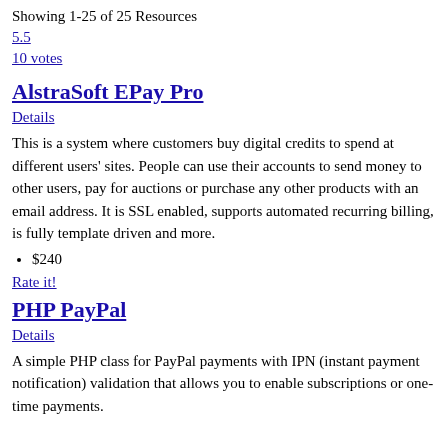Showing 1-25 of 25 Resources
5.5
10 votes
AlstraSoft EPay Pro
Details
This is a system where customers buy digital credits to spend at different users' sites. People can use their accounts to send money to other users, pay for auctions or purchase any other products with an email address. It is SSL enabled, supports automated recurring billing, is fully template driven and more.
$240
Rate it!
PHP PayPal
Details
A simple PHP class for PayPal payments with IPN (instant payment notification) validation that allows you to enable subscriptions or one-time payments.